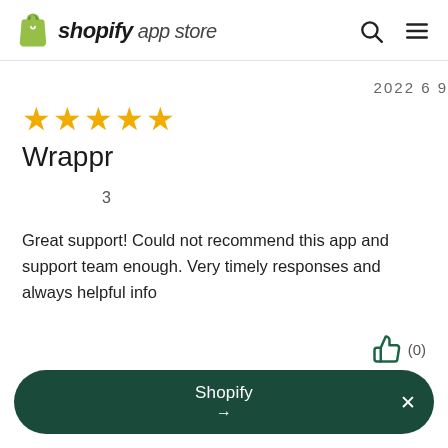shopify app store
2022 6 9
★★★★★
Wrappr
3
Great support! Could not recommend this app and support team enough. Very timely responses and always helpful info
Shopify →